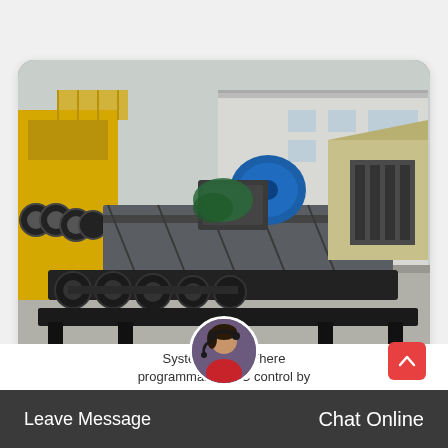[Figure (photo): Industrial belt conveyor equipment photographed outdoors at a manufacturing facility. Large yellow machinery visible on the left, black conveyor components in the foreground, a blue electric motor in the center, and factory building in the background.]
Belt conveyor monitoring system
System fu... There programmable PLC control by...
Leave Message | Chat Online